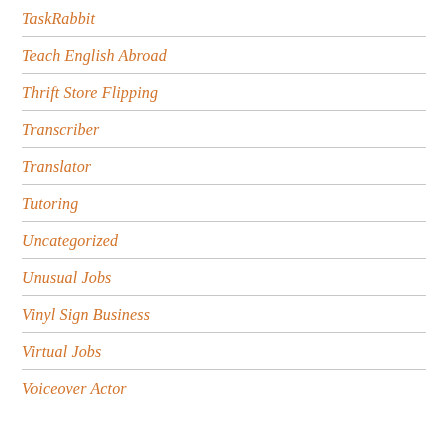TaskRabbit
Teach English Abroad
Thrift Store Flipping
Transcriber
Translator
Tutoring
Uncategorized
Unusual Jobs
Vinyl Sign Business
Virtual Jobs
Voiceover Actor